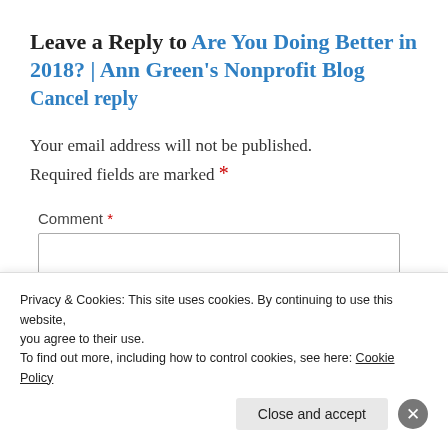Leave a Reply to Are You Doing Better in 2018? | Ann Green's Nonprofit Blog Cancel reply
Your email address will not be published. Required fields are marked *
Comment *
Privacy & Cookies: This site uses cookies. By continuing to use this website, you agree to their use.
To find out more, including how to control cookies, see here: Cookie Policy